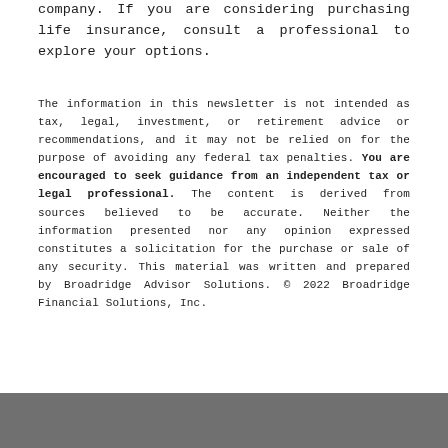company. If you are considering purchasing life insurance, consult a professional to explore your options.
The information in this newsletter is not intended as tax, legal, investment, or retirement advice or recommendations, and it may not be relied on for the purpose of avoiding any federal tax penalties. You are encouraged to seek guidance from an independent tax or legal professional. The content is derived from sources believed to be accurate. Neither the information presented nor any opinion expressed constitutes a solicitation for the purchase or sale of any security. This material was written and prepared by Broadridge Advisor Solutions. © 2022 Broadridge Financial Solutions, Inc.